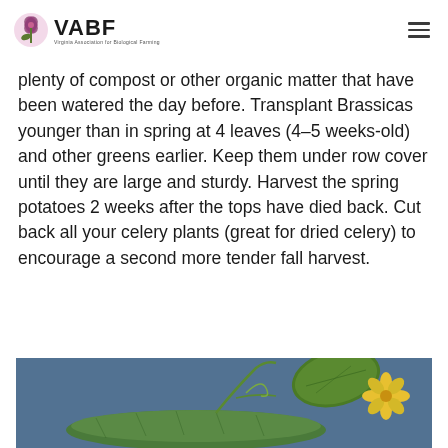VABF Virginia Association for Biological Farming
plenty of compost or other organic matter that have been watered the day before. Transplant Brassicas younger than in spring at 4 leaves (4–5 weeks-old) and other greens earlier. Keep them under row cover until they are large and sturdy. Harvest the spring potatoes 2 weeks after the tops have died back. Cut back all your celery plants (great for dried celery) to encourage a second more tender fall harvest.
[Figure (photo): Close-up photo of a cucumber plant with a yellow flower and green leaves on a blue background]